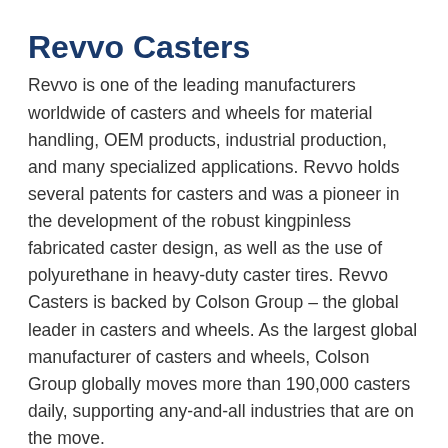Revvo Casters
Revvo is one of the leading manufacturers worldwide of casters and wheels for material handling, OEM products, industrial production, and many specialized applications. Revvo holds several patents for casters and was a pioneer in the development of the robust kingpinless fabricated caster design, as well as the use of polyurethane in heavy-duty caster tires. Revvo Casters is backed by Colson Group – the global leader in casters and wheels. As the largest global manufacturer of casters and wheels, Colson Group globally moves more than 190,000 casters daily, supporting any-and-all industries that are on the move.
[Figure (logo): Revvo logo — red oval with white Revvo script text and a stylized swirl graphic]